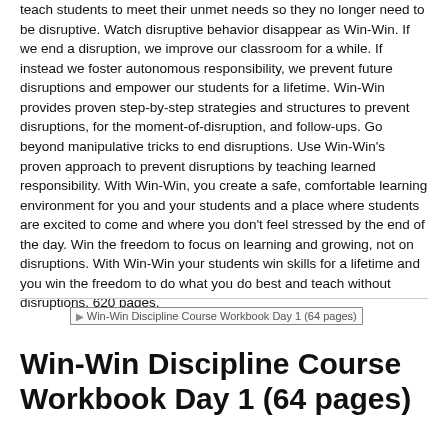teach students to meet their unmet needs so they no longer need to be disruptive. Watch disruptive behavior disappear as Win-Win. If we end a disruption, we improve our classroom for a while. If instead we foster autonomous responsibility, we prevent future disruptions and empower our students for a lifetime. Win-Win provides proven step-by-step strategies and structures to prevent disruptions, for the moment-of-disruption, and follow-ups. Go beyond manipulative tricks to end disruptions. Use Win-Win's proven approach to prevent disruptions by teaching learned responsibility. With Win-Win, you create a safe, comfortable learning environment for you and your students and a place where students are excited to come and where you don't feel stressed by the end of the day. Win the freedom to focus on learning and growing, not on disruptions. With Win-Win your students win skills for a lifetime and you win the freedom to do what you do best and teach without disruptions. 620 pages.
[Figure (other): Image placeholder for Win-Win Discipline Course Workbook Day 1 (64 pages)]
Win-Win Discipline Course Workbook Day 1 (64 pages)